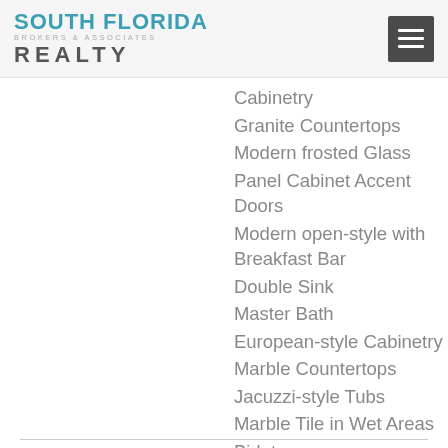South Florida Brokers & Associates Realty
Cabinetry
Granite Countertops
Modern frosted Glass
Panel Cabinet Accent Doors
Modern open-style with Breakfast Bar
Double Sink
Master Bath
European-style Cabinetry
Marble Countertops
Jacuzzi-style Tubs
Marble Tile in Wet Areas
Bidet
Dual Vanity